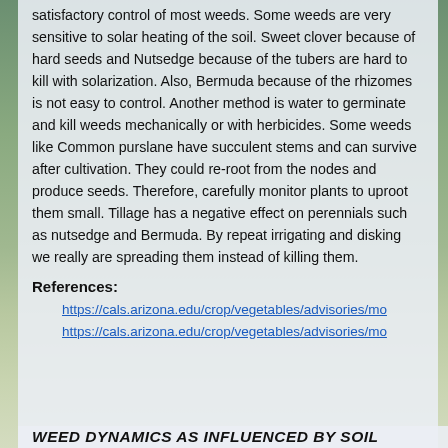satisfactory control of most weeds. Some weeds are very sensitive to solar heating of the soil. Sweet clover because of hard seeds and Nutsedge because of the tubers are hard to kill with solarization. Also, Bermuda because of the rhizomes is not easy to control. Another method is water to germinate and kill weeds mechanically or with herbicides. Some weeds like Common purslane have succulent stems and can survive after cultivation. They could re-root from the nodes and produce seeds. Therefore, carefully monitor plants to uproot them small. Tillage has a negative effect on perennials such as nutsedge and Bermuda. By repeat irrigating and disking we really are spreading them instead of killing them.
References:
https://cals.arizona.edu/crop/vegetables/advisories/mo
https://cals.arizona.edu/crop/vegetables/advisories/mo
WEED DYNAMICS AS INFLUENCED BY SOIL